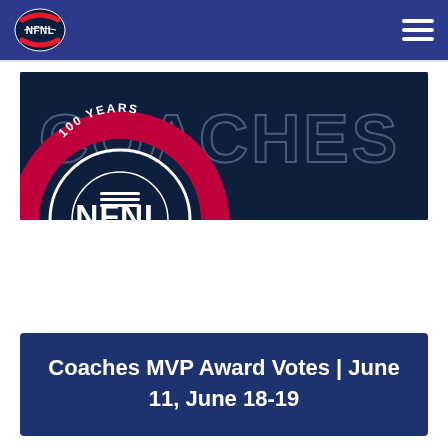NFNL
[Figure (illustration): Dark navy banner with NFNL 100 Years centenary logo on the left (red and white circular badge with NFNL text) and large outlined text reading 'COACHES' on the right, on a dark navy background.]
Coaches MVP Award Votes | June 11, June 18-19